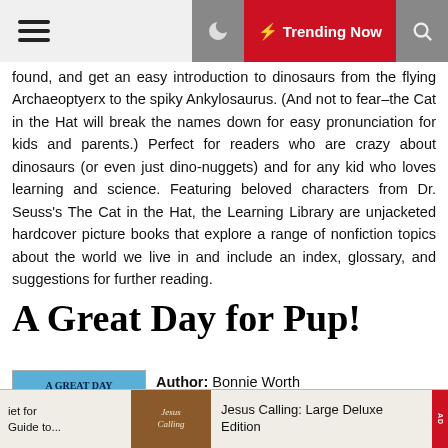Trending Now
found, and get an easy introduction to dinosaurs from the flying Archaeopteryx to the spiky Ankylosaurus. (And not to fear–the Cat in the Hat will break the names down for easy pronunciation for kids and parents.) Perfect for readers who are crazy about dinosaurs (or even just dino-nuggets) and for any kid who loves learning and science. Featuring beloved characters from Dr. Seuss's The Cat in the Hat, the Learning Library are unjacketed hardcover picture books that explore a range of nonfiction topics about the world we live in and include an index, glossary, and suggestions for further reading.
A Great Day for Pup!
Author: Bonnie Worth
Editor: Random House Books for Young
[Figure (photo): Book cover of 'A Great Day for Pup!' featuring Cat in the Hat characters on a blue background]
iet for
Guide to...
Jesus Calling: Large Deluxe Edition